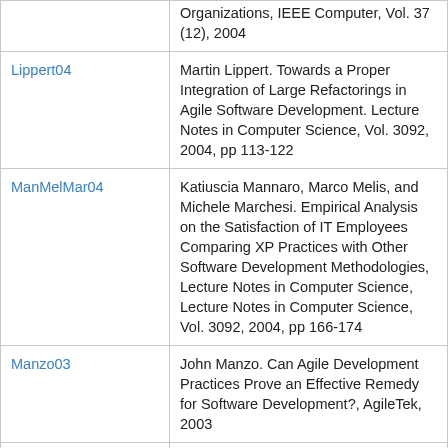| Key | Reference |
| --- | --- |
|  | Organizations, IEEE Computer, Vol. 37 (12), 2004 |
| Lippert04 | Martin Lippert. Towards a Proper Integration of Large Refactorings in Agile Software Development. Lecture Notes in Computer Science, Vol. 3092, 2004, pp 113-122 |
| ManMelMar04 | Katiuscia Mannaro, Marco Melis, and Michele Marchesi. Empirical Analysis on the Satisfaction of IT Employees Comparing XP Practices with Other Software Development Methodologies, Lecture Notes in Computer Science, Lecture Notes in Computer Science, Vol. 3092, 2004, pp 166-174 |
| Manzo03 | John Manzo. Can Agile Development Practices Prove an Effective Remedy for Software Development?, AgileTek, 2003 |
| MauMar02-Distributed | Frank Maurer, and Sebastien Martel. Process Support for Distributed Extreme Programming Teams, 2002 |
| McDHanWer03 | Charlie McDowell, Brian Hanks, and Linda |